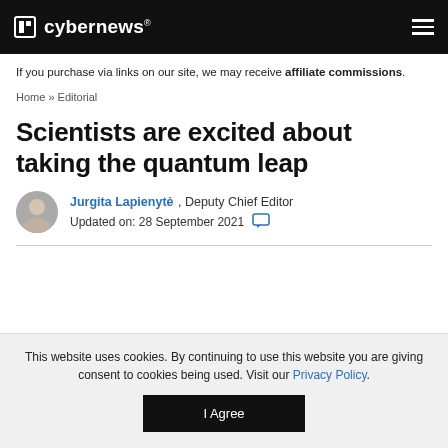cybernews®
If you purchase via links on our site, we may receive affiliate commissions.
Home » Editorial
Scientists are excited about taking the quantum leap
Jurgita Lapienytė, Deputy Chief Editor
Updated on: 28 September 2021
This website uses cookies. By continuing to use this website you are giving consent to cookies being used. Visit our Privacy Policy.
I Agree